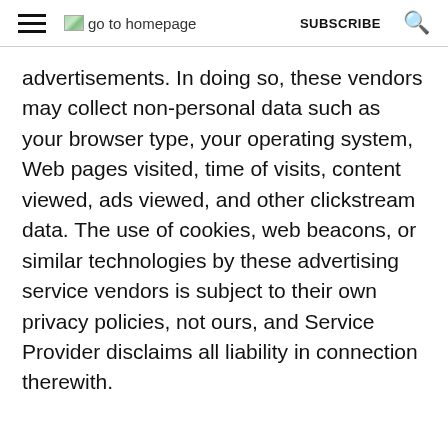≡ go to homepage  SUBSCRIBE  🔍
advertisements. In doing so, these vendors may collect non-personal data such as your browser type, your operating system, Web pages visited, time of visits, content viewed, ads viewed, and other clickstream data. The use of cookies, web beacons, or similar technologies by these advertising service vendors is subject to their own privacy policies, not ours, and Service Provider disclaims all liability in connection therewith.